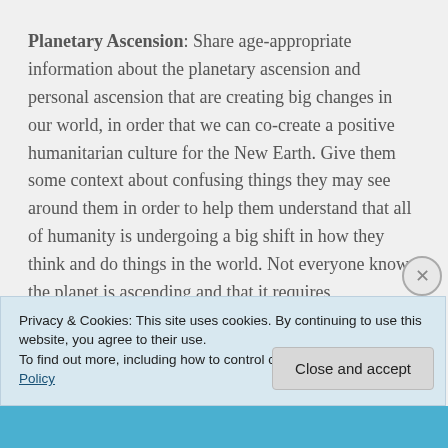Planetary Ascension: Share age-appropriate information about the planetary ascension and personal ascension that are creating big changes in our world, in order that we can co-create a positive humanitarian culture for the New Earth. Give them some context about confusing things they may see around them in order to help them understand that all of humanity is undergoing a big shift in how they think and do things in the world. Not everyone knows the planet is ascending and that it requires
Privacy & Cookies: This site uses cookies. By continuing to use this website, you agree to their use.
To find out more, including how to control cookies, see here: Cookie Policy
Close and accept